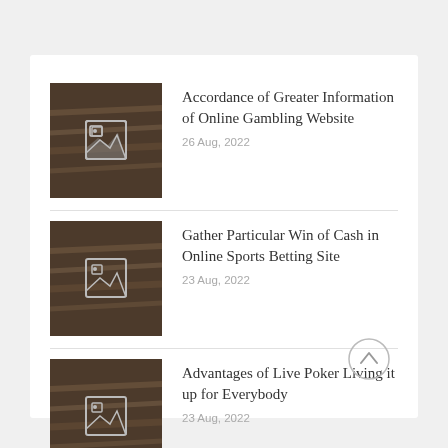[Figure (photo): Thumbnail image of stacked books/notebooks with a broken image icon overlay, dark brownish tones]
Accordance of Greater Information of Online Gambling Website
26 Aug, 2022
[Figure (photo): Thumbnail image of stacked books/notebooks with a broken image icon overlay, dark brownish tones]
Gather Particular Win of Cash in Online Sports Betting Site
23 Aug, 2022
[Figure (photo): Thumbnail image of stacked books/notebooks with a broken image icon overlay, dark brownish tones]
Advantages of Live Poker Living it up for Everybody
23 Aug, 2022